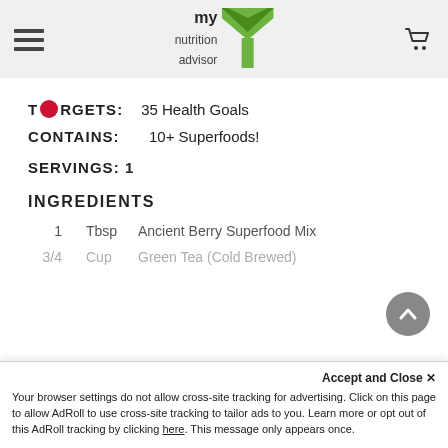my nutrition advisor
TARGETS: 35 Health Goals
CONTAINS: 10+ Superfoods!
SERVINGS: 1
INGREDIENTS
1   Tbsp   Ancient Berry Superfood Mix
3/4   Cup   Green Tea (Cold Brewed)
Accept and Close ✕
Your browser settings do not allow cross-site tracking for advertising. Click on this page to allow AdRoll to use cross-site tracking to tailor ads to you. Learn more or opt out of this AdRoll tracking by clicking here. This message only appears once.